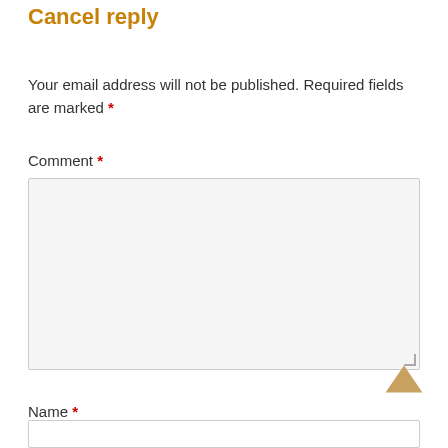Cancel reply
Your email address will not be published. Required fields are marked *
Comment *
Name *